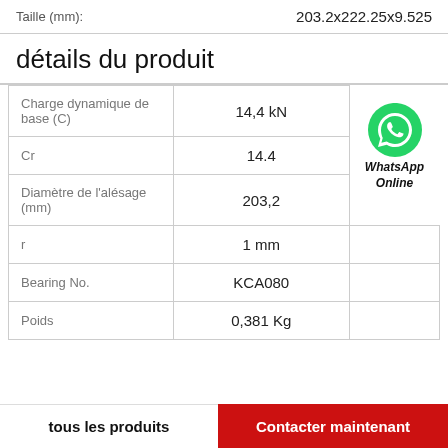Taille (mm): 203.2x222.25x9.525
détails du produit
|  |  |
| --- | --- |
| Charge dynamique de base (C) | 14,4 kN |
| Cr | 14.4 |
| Diamètre de l'alésage (mm) | 203,2 |
| r | 1 mm |
| Bearing No. | KCA080 |
| Poids | 0,381 Kg |
WhatsApp Online
tous les produits
Contacter maintenant